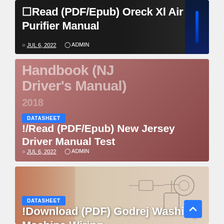[Figure (screenshot): Article card with dark background showing air purifier image. Title: Read (PDF/Epub) Oreck Xl Air Purifier Manual. Date: JUL 6, 2022. Author: ADMIN.]
[Figure (screenshot): Article card with reddish-mauve background. Ghost text: Handbook (NJ Driver's Manual) 2018. Badge: DATASHEET. Title: !/Read (PDF/Epub) New Jersey Driver Manual Test. Date: JUL 6, 2022. Author: ADMIN.]
[Figure (screenshot): Article card with photo background showing technical/wiring diagram and a person. Badge: DATASHEET. Title: !Download (PDF) Godrej Washing Machine Wiring (partial, cut off).]